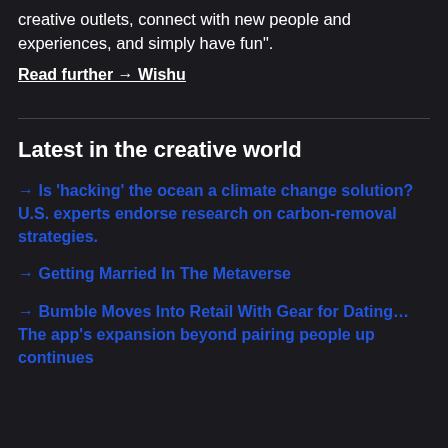creative outlets, connect with new people and experiences, and simply have fun".
Read further → Wishu
Latest in the creative world
→ Is 'hacking' the ocean a climate change solution? U.S. experts endorse research on carbon-removal strategies.
→ Getting Married In The Metaverse
→ Bumble Moves Into Retail With Gear for Dating… The app's expansion beyond pairing people up continues